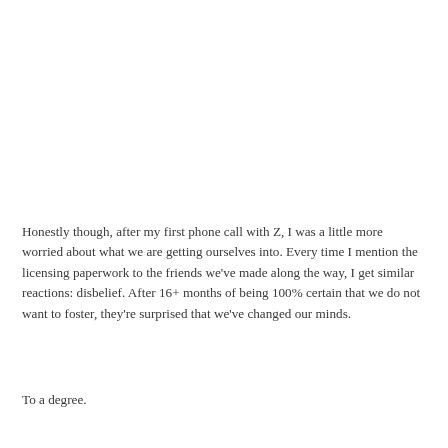Honestly though, after my first phone call with Z, I was a little more worried about what we are getting ourselves into. Every time I mention the licensing paperwork to the friends we've made along the way, I get similar reactions: disbelief. After 16+ months of being 100% certain that we do not want to foster, they're surprised that we've changed our minds.
To a degree.